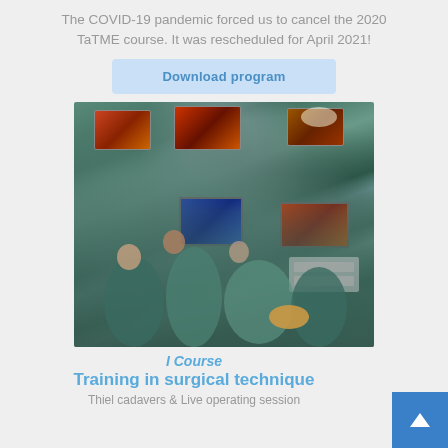The COVID-19 pandemic forced us to cancel the 2020 TaTME course. It was rescheduled for April 2021!
Download program
[Figure (photo): A group of surgeons and medical staff in blue/teal scrubs gathered around an operating table in a surgical theater, watching multiple endoscopic procedure screens mounted on equipment.]
I Course
Training in surgical technique
Thiel cadavers & Live operating session